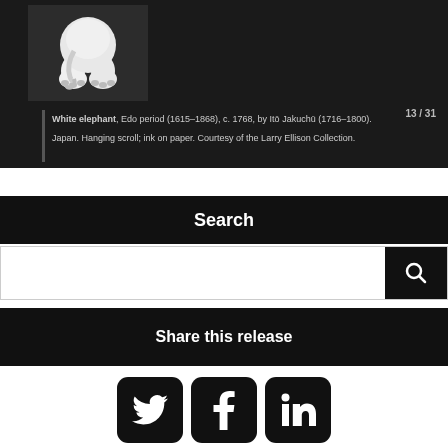[Figure (photo): Partial view of a museum slideshow panel showing a Japanese ink drawing of a white elephant on dark background with caption text and slide counter 13/31]
White elephant, Edo period (1615–1868), c. 1768, by Itō Jakuchū (1716–1800). Japan. Hanging scroll; ink on paper. Courtesy of the Larry Ellison Collection.
Search
Share this release
[Figure (other): Social media share icons: Twitter bird, Facebook f, LinkedIn in — white on black rounded square buttons]